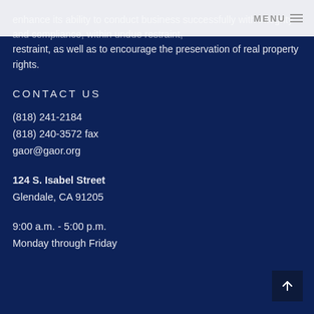MENU
enhance its ability to conduct business successfully with integrity and compliance, within undue restraint, as well as to encourage the preservation of real property rights.
CONTACT US
(818) 241-2184
(818) 240-3572 fax
gaor@gaor.org
124 S. Isabel Street
Glendale, CA 91205
9:00 a.m. - 5:00 p.m.
Monday through Friday